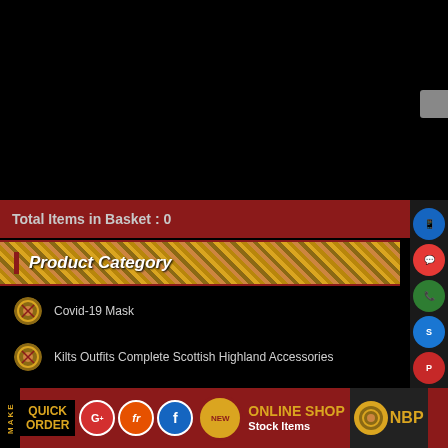[Figure (screenshot): Black top area of webpage screenshot]
Total Items in Basket : 0
Product Category
Covid-19 Mask
Kilts Outfits Complete Scottish Highland Accessories
Scottish Clan Tartan Collections
Mens Scottish Tartan Kilts Traditional
[Figure (infographic): Bottom navigation bar with QUICK ORDER, social icons (G+, fr, f), NEW badge, ONLINE SHOP Stock Items text, NBP logo]